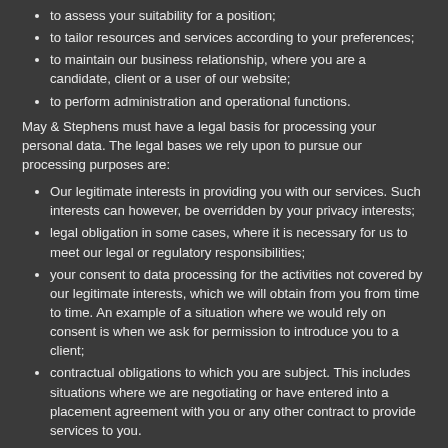to assess your suitability for a position;
to tailor resources and services according to your preferences;
to maintain our business relationship, where you are a candidate, client or a user of our website;
to perform administration and operational functions.
May & Stephens must have a legal basis for processing your personal data. The legal bases we rely upon to pursue our processing purposes are:
Our legitimate interests in providing you with our services. Such interests can however, be overridden by your privacy interests;
legal obligation in some cases, where it is necessary for us to meet our legal or regulatory responsibilities;
your consent to data processing for the activities not covered by our legitimate interests, which we will obtain from you from time to time. An example of a situation where we would rely on consent is when we ask for permission to introduce you to a client;
contractual obligations to which you are subject. This includes situations where we are negotiating or have entered into a placement agreement with you or any other contract to provide services to you.
Legitimate interest
Where May & Stephens has relied on a legitimate interest to process your personal data our legitimate interests is as follows:
To offer you the tailored and efficient recruitment service you expect of us.
As a recruitment business, we introduce candidates to clients for permanent and temporary employment as well as offering clients' vacancies to candidates. In order to do so, the exchange of personal data of our clients and candidates is essential to our operation. In order to